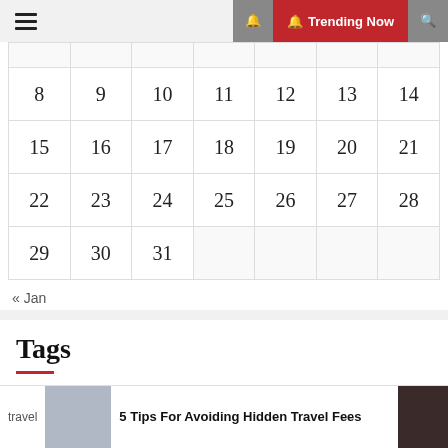☰  🔔 Trending Now 🔍
|  |  |  |  |  |  |  |
| --- | --- | --- | --- | --- | --- | --- |
|  |  |  |  |  |  |  |
| 8 | 9 | 10 | 11 | 12 | 13 | 14 |
| 15 | 16 | 17 | 18 | 19 | 20 | 21 |
| 22 | 23 | 24 | 25 | 26 | 27 | 28 |
| 29 | 30 | 31 |  |  |  |  |
« Jan
Tags
Black
Business
Christmas
City
travel  5 Tips For Avoiding Hidden Travel Fees